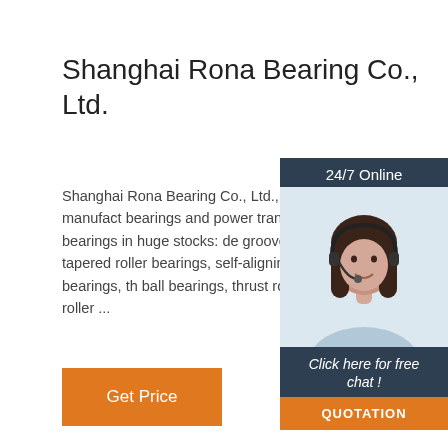Shanghai Rona Bearing Co., Ltd.
Shanghai Rona Bearing Co., Ltd., was established in 1998, engaged in manufacturing bearings and power transmission. We have a wide variety of bearings in huge stocks: deep groove ball bearings, cylindrical roller bearings, tapered roller bearings, self-aligning ball bearings, angular contact ball bearings, thrust ball bearings, thrust roller bearings, pillow block bearings, needle roller ...
[Figure (photo): Chat widget with woman wearing headset, dark blue background, '24/7 Online' header, 'Click here for free chat!' text, and orange QUOTATION button]
Get Price